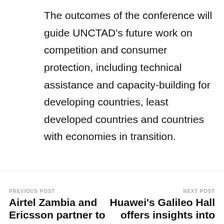The outcomes of the conference will guide UNCTAD's future work on competition and consumer protection, including technical assistance and capacity-building for developing countries, least developed countries and countries with economies in transition.
Share this:
[Figure (other): Social media sharing icons: Twitter (blue), Facebook (blue), LinkedIn (blue), Pocket (red/pink), WhatsApp (green)]
PREVIOUS POST
Airtel Zambia and Ericsson partner to
NEXT POST
Huawei's Galileo Hall offers insights into